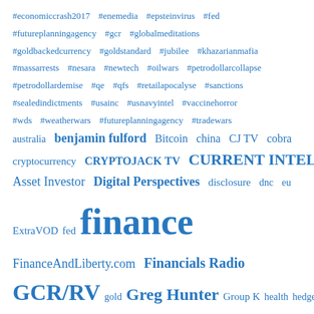[Figure (infographic): Tag cloud / word cloud with finance-related hashtags and keywords in various sizes, all in blue color on white background. Larger words indicate higher frequency/importance. Words include hashtags like #economiccrash2017, #fed, finance (largest), GCR/RV, Greg Hunter, CURRENT INTEL, etc.]